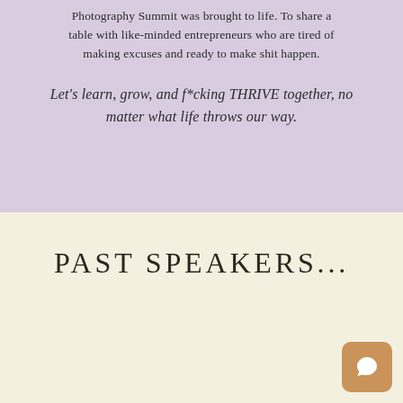Photography Summit was brought to life. To share a table with like-minded entrepreneurs who are tired of making excuses and ready to make shit happen.
Let's learn, grow, and f*cking THRIVE together, no matter what life throws our way.
PAST SPEAKERS...
[Figure (other): Chat bubble icon button in orange/tan rounded square]